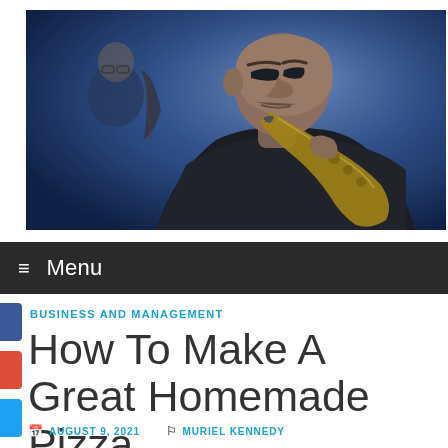[Figure (photo): A jazz musician playing saxophone in the foreground, dressed in dark clothing, with another musician visible in the background. Blue-toned stage lighting.]
≡ Menu
BUSINESS AND MANAGEMENT
How To Make A Great Homemade Pizza
AUGUST 9, 2021   MURIEL KENNEDY